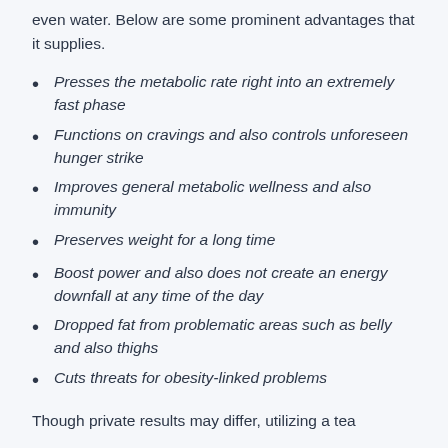even water. Below are some prominent advantages that it supplies.
Presses the metabolic rate right into an extremely fast phase
Functions on cravings and also controls unforeseen hunger strike
Improves general metabolic wellness and also immunity
Preserves weight for a long time
Boost power and also does not create an energy downfall at any time of the day
Dropped fat from problematic areas such as belly and also thighs
Cuts threats for obesity-linked problems
Though private results may differ, utilizing a tea